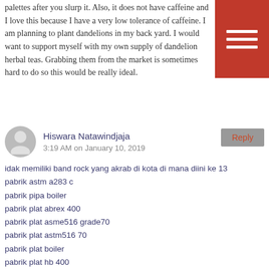palettes after you slurp it. Also, it does not have caffeine and I love this because I have a very low tolerance of caffeine. I am planning to plant dandelions in my back yard. I would want to support myself with my own supply of dandelion herbal teas. Grabbing them from the market is sometimes hard to do so this would be really ideal.
Hiswara Natawindjaja
3:19 AM on January 10, 2019
idak memiliki band rock yang akrab di kota di mana diini ke 13
pabrik astm a283 c
pabrik pipa boiler
pabrik plat abrex 400
pabrik plat asme516 grade70
pabrik plat astm516 70
pabrik plat boiler
pabrik plat hb 400
pabrik plat high tensile sm490 yb
pabrik plat high tensile sm490ya
pabrik plat kapal
Distributor besi Wf Baja
undangan pernikahan bahasa inggris islam
Distributor Besi H beam
Toko Besi Beton
Supplier pipa besi
Toko Wiremesh Besi
Toko Wiremesh Besi
Pabrik wiremesh